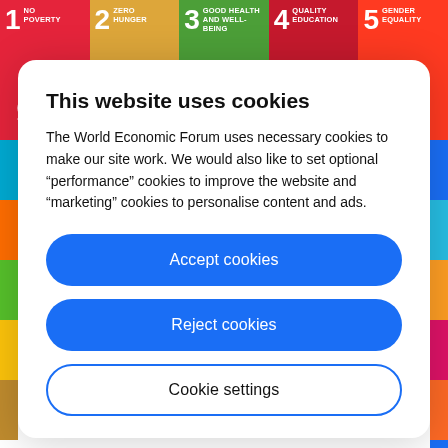[Figure (illustration): UN Sustainable Development Goals tiles banner showing SDG 1 No Poverty (red), SDG 2 Zero Hunger (yellow), SDG 3 Good Health and Well-Being (green), SDG 4 Quality Education (dark red), SDG 5 Gender Equality (orange-red)]
This website uses cookies
The World Economic Forum uses necessary cookies to make our site work. We would also like to set optional “performance” cookies to improve the website and “marketing” cookies to personalise content and ads.
Accept cookies
Reject cookies
Cookie settings